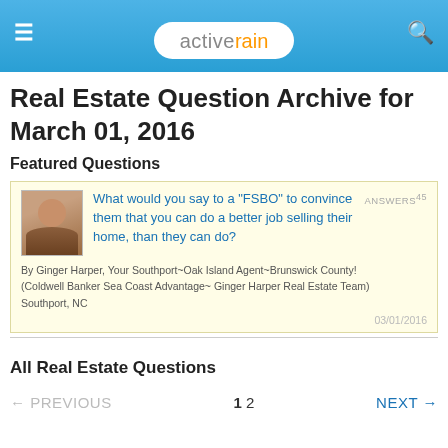activerain
Real Estate Question Archive for March 01, 2016
Featured Questions
What would you say to a "FSBO" to convince them that you can do a better job selling their home, than they can do? By Ginger Harper, Your Southport~Oak Island Agent~Brunswick County! (Coldwell Banker Sea Coast Advantage~ Ginger Harper Real Estate Team) Southport, NC ANSWERS 45 03/01/2016
All Real Estate Questions
← PREVIOUS   1 2   NEXT →